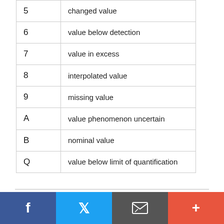| Code | Description |
| --- | --- |
| 5 | changed value |
| 6 | value below detection |
| 7 | value in excess |
| 8 | interpolated value |
| 9 | missing value |
| A | value phenomenon uncertain |
| B | nominal value |
| Q | value below limit of quantification |